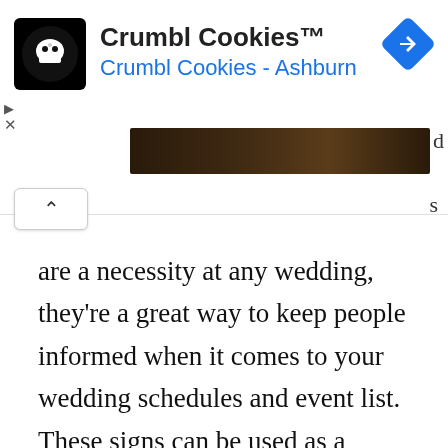[Figure (screenshot): Crumbl Cookies ad banner with logo, brand name 'Crumbl Cookies™', subtitle 'Crumbl Cookies - Ashburn' in blue, navigation diamond icon, play/close controls, and a dark photo strip with partial letters 'd' and 's' visible, plus a chevron-up button]
are a necessity at any wedding, they're a great way to keep people informed when it comes to your wedding schedules and event list.  These signs can be used as a welcome, as a form of directions, as a seating chart, signature cocktails, and pretty much everything else that you can think [...]